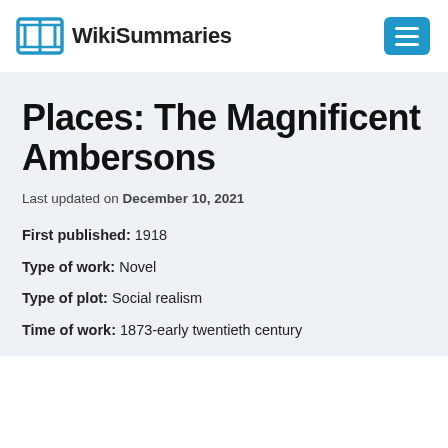WikiSummaries
Places: The Magnificent Ambersons
Last updated on December 10, 2021
First published: 1918
Type of work: Novel
Type of plot: Social realism
Time of work: 1873-early twentieth century